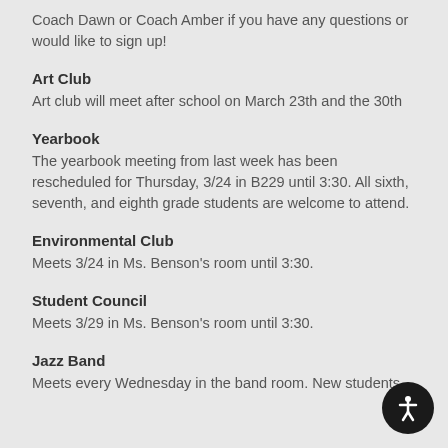Coach Dawn or Coach Amber if you have any questions or would like to sign up!
Art Club
Art club will meet after school on March 23th and the 30th
Yearbook
The yearbook meeting from last week has been rescheduled for Thursday, 3/24 in B229 until 3:30. All sixth, seventh, and eighth grade students are welcome to attend.
Environmental Club
Meets 3/24 in Ms. Benson's room until 3:30.
Student Council
Meets 3/29 in Ms. Benson's room until 3:30.
Jazz Band
Meets every Wednesday in the band room. New students...